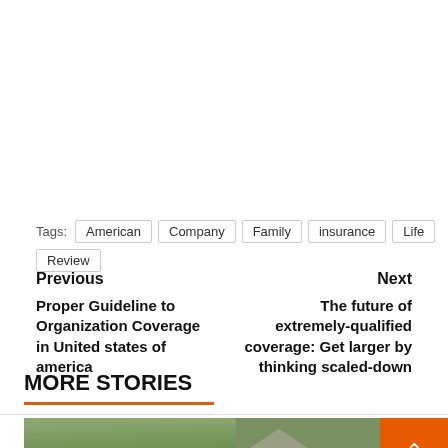Tags: American Company Family insurance Life Review
Previous
Proper Guideline to Organization Coverage in United states of america
Next
The future of extremely-qualified coverage: Get larger by thinking scaled-down
MORE STORIES
7 min read
[Figure (photo): Outdoor photo of a cat standing/sitting in a garden with green foliage in the background]